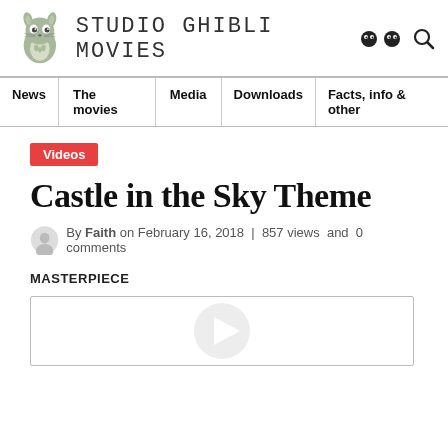Studio Ghibli Movies
News | The movies | Media | Downloads | Facts, info & other
Videos
Castle in the Sky Theme
By Faith on February 16, 2018 | 857 views and 0 comments
MASTERPIECE
[Figure (other): Embedded video player placeholder with play icon]